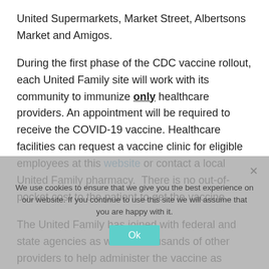United Supermarkets, Market Street, Albertsons Market and Amigos.
During the first phase of the CDC vaccine rollout, each United Family site will work with its community to immunize only healthcare providers. An appointment will be required to receive the COVID-19 vaccine. Healthcare facilities can request a vaccine clinic for eligible employees at this website or contact a local United Family pharmacy.  There is no out-of-pocket cost to the patient to get the vaccine.
The United Family has joined with federal and state agencies as well as thousands of other providers to help administer the vaccine as outlined in the phased distribution schedule from the CDC. Register to receive email updates about the vaccine rollout, eligibility and clinic locations at these banner websites.
As the COVID-19 vaccine becomes available in other phases of